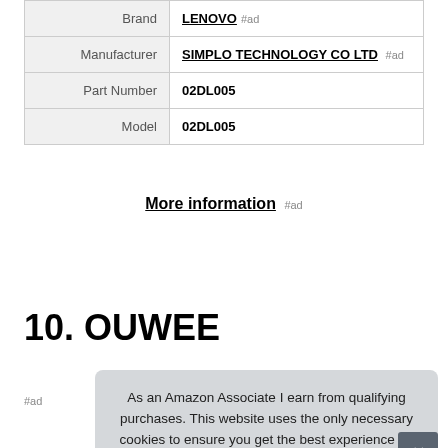| Brand | LENOVO #ad |
| Manufacturer | SIMPLO TECHNOLOGY CO LTD #ad |
| Part Number | 02DL005 |
| Model | 02DL005 |
More information #ad
10. OUWEE
#ad
As an Amazon Associate I earn from qualifying purchases. This website uses the only necessary cookies to ensure you get the best experience on our website. More information